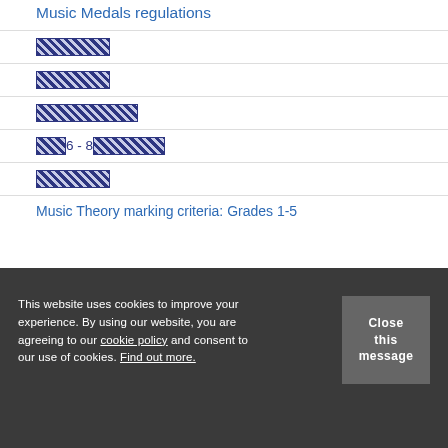Music Medals regulations
[redacted]
[redacted]
[redacted]
[redacted] 6 - 8 [redacted]
[redacted]
Music Theory marking criteria: Grades 1-5
This website uses cookies to improve your experience. By using our website, you are agreeing to our cookie policy and consent to our use of cookies. Find out more.
Close this message